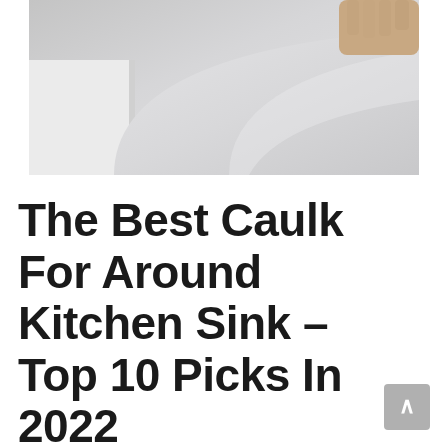[Figure (photo): Photo of a bathtub or kitchen sink edge with white baseboard trim and a hand visible at the top right corner, showing caulking area]
The Best Caulk For Around Kitchen Sink – Top 10 Picks In 2022
May 30, 2022 by joseph